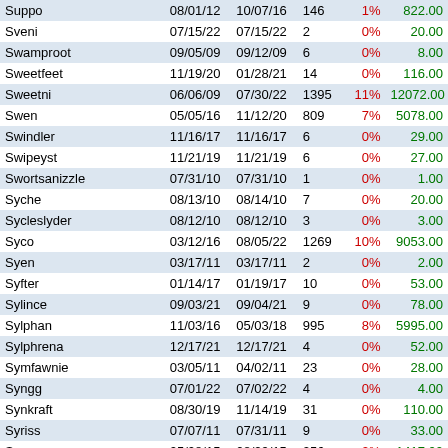| Name | Date1 | Date2 | Num | Pct | Value |
| --- | --- | --- | --- | --- | --- |
| Suppo | 08/01/12 | 10/07/16 | 146 | 1% | 822.00 |
| Sveni | 07/15/22 | 07/15/22 | 2 | 0% | 20.00 |
| Swamproot | 09/05/09 | 09/12/09 | 6 | 0% | 8.00 |
| Sweetfeet | 11/19/20 | 01/28/21 | 14 | 0% | 116.00 |
| Sweetni | 06/06/09 | 07/30/22 | 1395 | 11% | 12072.00 |
| Swen | 05/05/16 | 11/12/20 | 809 | 7% | 5078.00 |
| Swindler | 11/16/17 | 11/16/17 | 6 | 0% | 29.00 |
| Swipeyst | 11/21/19 | 11/21/19 | 6 | 0% | 27.00 |
| Swortsanizzle | 07/31/10 | 07/31/10 | 1 | 0% | 1.00 |
| Syche | 08/13/10 | 08/14/10 | 7 | 0% | 20.00 |
| Sycleslyder | 08/12/10 | 08/12/10 | 3 | 0% | 3.00 |
| Syco | 03/12/16 | 08/05/22 | 1269 | 10% | 9053.00 |
| Syen | 03/17/11 | 03/17/11 | 2 | 0% | 2.00 |
| Syfter | 01/14/17 | 01/19/17 | 10 | 0% | 53.00 |
| Sylince | 09/03/21 | 09/04/21 | 9 | 0% | 78.00 |
| Sylphan | 11/03/16 | 05/03/18 | 995 | 8% | 5995.00 |
| Sylphrena | 12/17/21 | 12/17/21 | 4 | 0% | 52.00 |
| Symfawnie | 03/05/11 | 04/02/11 | 23 | 0% | 28.00 |
| Syngg | 07/01/22 | 07/02/22 | 4 | 0% | 4.00 |
| Synkraft | 08/30/19 | 11/14/19 | 31 | 0% | 110.00 |
| Syriss | 07/07/11 | 07/31/11 | 9 | 0% | 33.00 |
| Sysygy | 05/08/15 | 08/29/15 | 256 | 2% | 1417.00 |
| Syvia | 06/28/12 | 07/07/12 | 6 | 0% | 6.00 |
| Szarlok | 06/05/09 | 06/05/09 | 4 | 0% | 6.00 |